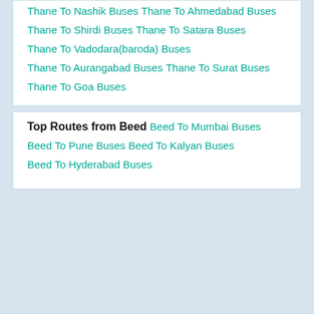Thane To Nashik Buses
Thane To Ahmedabad Buses
Thane To Shirdi Buses
Thane To Satara Buses
Thane To Vadodara(baroda) Buses
Thane To Aurangabad Buses
Thane To Surat Buses
Thane To Goa Buses
Top Routes from Beed
Beed To Mumbai Buses
Beed To Pune Buses
Beed To Kalyan Buses
Beed To Hyderabad Buses